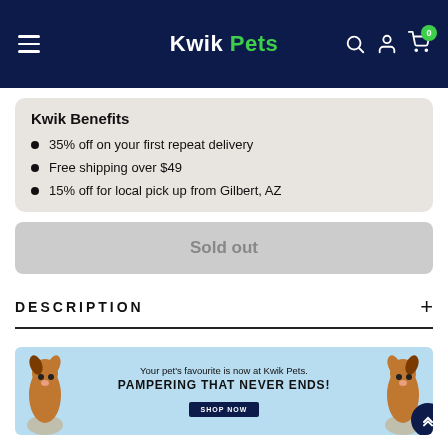Kwik Pets
Kwik Benefits
35% off on your first repeat delivery
Free shipping over $49
15% off for local pick up from Gilbert, AZ
Sold out
DESCRIPTION
[Figure (infographic): Kwik Pets promotional banner: 'Your pet's favourite is now at Kwik Pets. PAMPERING THAT NEVER ENDS!' with SHOP NOW button and two dog images on blue background]